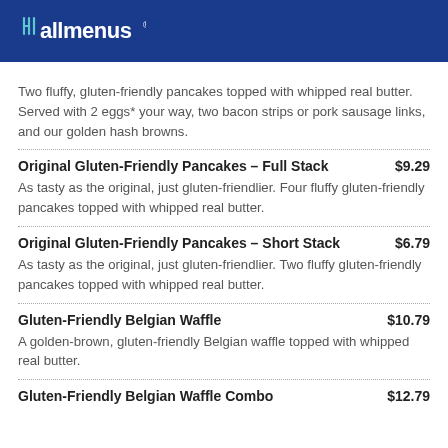allmenus
Two fluffy, gluten-friendly pancakes topped with whipped real butter. Served with 2 eggs* your way, two bacon strips or pork sausage links, and our golden hash browns.
Original Gluten-Friendly Pancakes – Full Stack   $9.29
As tasty as the original, just gluten-friendlier. Four fluffy gluten-friendly pancakes topped with whipped real butter.
Original Gluten-Friendly Pancakes – Short Stack   $6.79
As tasty as the original, just gluten-friendlier. Two fluffy gluten-friendly pancakes topped with whipped real butter.
Gluten-Friendly Belgian Waffle   $10.79
A golden-brown, gluten-friendly Belgian waffle topped with whipped real butter.
Gluten-Friendly Belgian Waffle Combo   $12.79